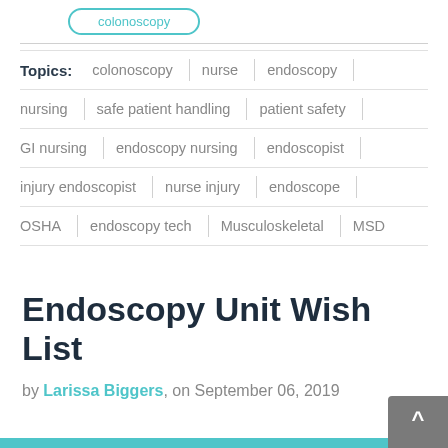[Figure (other): Teal rounded rectangle button (partial, top of page)]
Topics: colonoscopy | nurse | endoscopy | nursing | safe patient handling | patient safety | GI nursing | endoscopy nursing | endoscopist | injury endoscopist | nurse injury | endoscope | OSHA | endoscopy tech | Musculoskeletal | MSD
Endoscopy Unit Wish List
by Larissa Biggers, on September 06, 2019